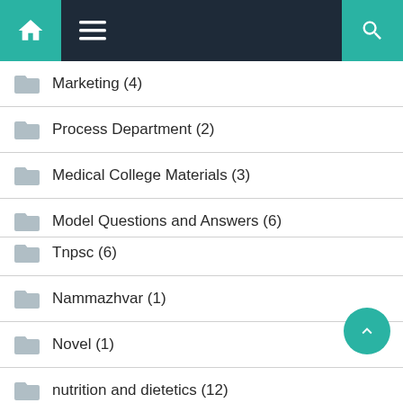[Figure (screenshot): Navigation bar with home icon, hamburger menu, and search icon on dark navy background with teal accent panels]
Marketing (4)
Process Department (2)
Medical College Materials (3)
Model Questions and Answers (6)
Tnpsc (6)
Nammazhvar (1)
Novel (1)
nutrition and dietetics (12)
PG degree (1)